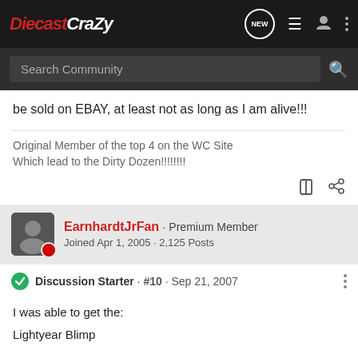DiecastCrazy — nav bar with logo, NEW button, list icon, user icon, more icon
Search Community
be sold on EBAY, at least not as long as I am alive!!!
Original Member of the top 4 on the WC Site
Which lead to the Dirty Dozen!!!!!!!!
EarnhardtJrFan · Premium Member
Joined Apr 1, 2005 · 2,125 Posts
Discussion Starter · #10 · Sep 21, 2007
I was able to get the:
Lightyear Blimp